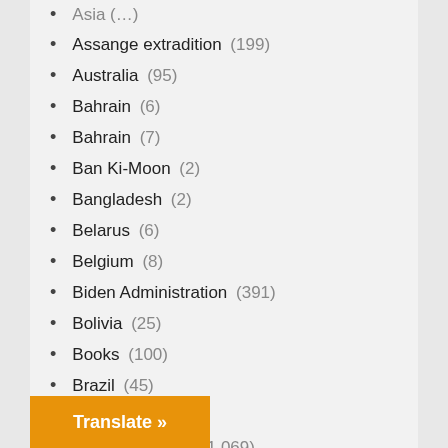Asia (...)
Assange extradition (199)
Australia (95)
Bahrain (6)
Bahrain (7)
Ban Ki-Moon (2)
Bangladesh (2)
Belarus (6)
Belgium (8)
Biden Administration (391)
Bolivia (25)
Books (100)
Brazil (45)
Britain (385)
Campaign 2016 (1,069)
Campaign 2020 (170)
Canada (9)
Censorship (170)
...ica (24)